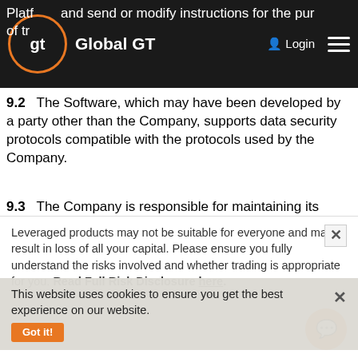Platform and send or modify instructions for the purpose of trading financial instruments.
9.2  The Software, which may have been developed by a party other than the Company, supports data security protocols compatible with the protocols used by the Company.
9.3  The Company is responsible for maintaining its Trading Platform and other related systems; therefore, the Client accepts that the Company or a relevant third party may, from time to time, perform maintenance that may include shutting down, restarting or reconfiguring to ensure the effective and efficient operation of the Company's Trading Platform and related systems or network connections.
This website uses cookies to ensure you get the best experience on our website. Got it!
Leveraged products may not be suitable for everyone and may result in loss of all your capital. Please ensure you fully understand the risks involved and whether trading is appropriate for you. Read Full Risk Disclosure here.